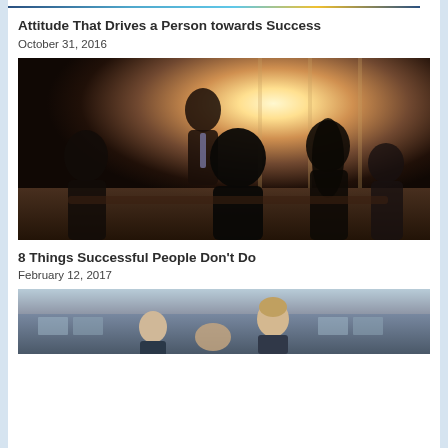[Figure (photo): Decorative top banner with blue, yellow, and teal colors (partially visible)]
Attitude That Drives a Person towards Success
October 31, 2016
[Figure (photo): Business meeting scene with several professionals in a bright office, one person presenting near large windows with sunlight]
8 Things Successful People Don't Do
February 12, 2017
[Figure (photo): Outdoor photo of a man smiling in front of a building with glass facade]